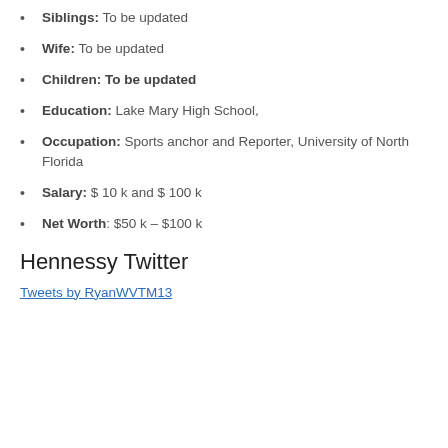Siblings: To be updated
Wife: To be updated
Children: To be updated
Education: Lake Mary High School,
Occupation: Sports anchor and Reporter, University of North Florida
Salary: $ 10 k and $ 100 k
Net Worth: $50 k – $100 k
Hennessy Twitter
Tweets by RyanWVTM13